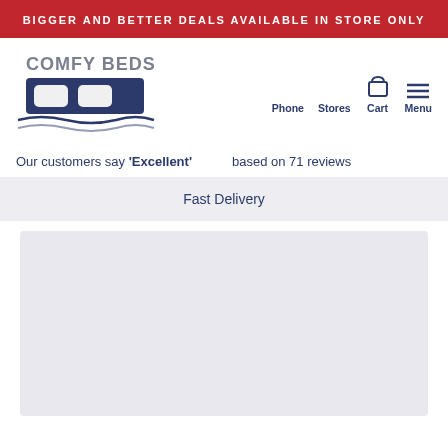BIGGER AND BETTER DEALS AVAILABLE IN STORE ONLY
[Figure (logo): Comfy Beds logo with bed and wave design]
Phone   Stores   Cart   Menu
Our customers say 'Excellent'   based on 71 reviews
Fast Delivery
[Figure (photo): Product image placeholder (grey background)]